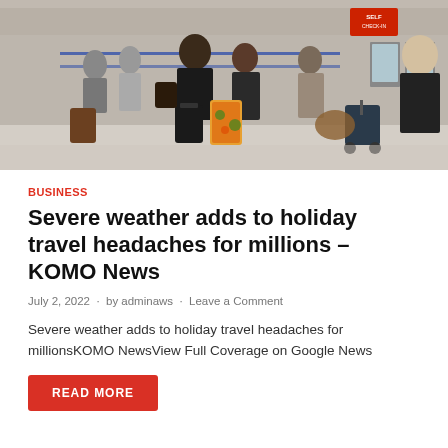[Figure (photo): Airport check-in area crowded with travelers with luggage, queuing at self-service kiosks. A woman in black is prominent in center, a stroller is visible on right.]
BUSINESS
Severe weather adds to holiday travel headaches for millions – KOMO News
July 2, 2022  ·  by adminaws  ·  Leave a Comment
Severe weather adds to holiday travel headaches for millionsKOMO NewsView Full Coverage on Google News
READ MORE